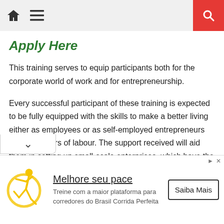Apply Here
This training serves to equip participants both for the corporate world of work and for entrepreneurship.
Every successful participant of these training is expected to be fully equipped with the skills to make a better living either as employees or as self-employed entrepreneurs and employers of labour. The support received will aid them in setting up small-scale enterprises, which have the potential to grow bigger over time.
[Figure (infographic): Advertisement banner for 'Melhore seu pace' running training platform with runner illustration, Saiba Mais button]